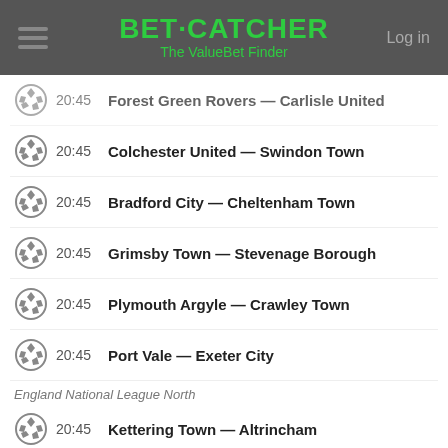BET·CATCHER The ValueBet Finder
20:45 Forest Green Rovers — Carlisle United
20:45 Colchester United — Swindon Town
20:45 Bradford City — Cheltenham Town
20:45 Grimsby Town — Stevenage Borough
20:45 Plymouth Argyle — Crawley Town
20:45 Port Vale — Exeter City
England National League North
20:45 Kettering Town — Altrincham
England National League South
20:45 Hemel Hempstead Town — Weymouth
Scotland FA Cup
20:45 Falkirk — Arbroath
20:45 Hibernian — Dundee United